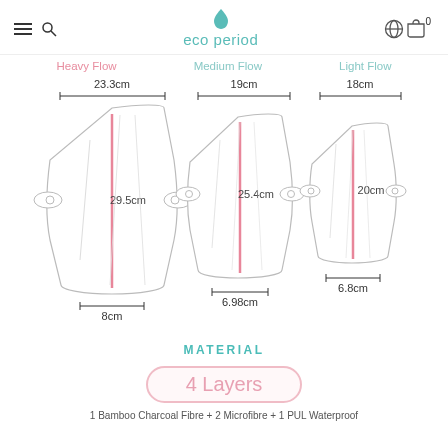eco period
Heavy Flow   Medium Flow   Light Flow
[Figure (infographic): Three reusable cloth menstrual pads shown side by side with dimensions. Heavy Flow pad: 23.3cm wide across wings, 29.5cm long, 8cm wing width. Medium Flow pad: 19cm wide across wings, 25.4cm long, 6.98cm wing width. Light Flow pad: 18cm wide across wings, 20cm long, 6.8cm wing width. Each pad has a pink vertical center line and snap buttons on the wings.]
MATERIAL
4 Layers
1 Bamboo Charcoal Fibre + 2 Microfibre + 1 PUL Waterproof